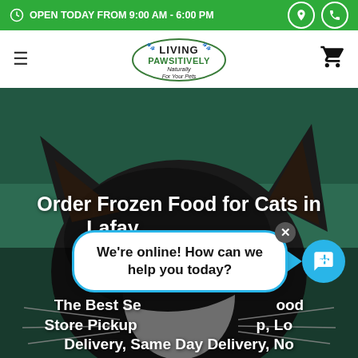OPEN TODAY FROM 9:00 AM - 6:00 PM
[Figure (logo): Living Pawsitively Naturally For Your Pets logo with two dog/cat silhouettes]
[Figure (photo): Close-up of a black and white cat against a dark green background, showing the top of its head and ears]
Order Frozen Food for Cats in Lafayette Township
The Best Selection of Frozen Food, Store Pickup, Curbside Pickup, Local Delivery, Same Day Delivery, No
[Figure (other): Chat popup bubble saying: We're online! How can we help you today? with a close X button and a blue chat icon circle]